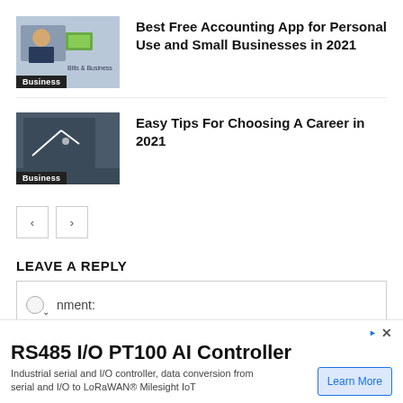[Figure (photo): Thumbnail image of a person at a desk with money, labeled Business]
Best Free Accounting App for Personal Use and Small Businesses in 2021
[Figure (photo): Thumbnail image of a blackboard with writing, labeled Business]
Easy Tips For Choosing A Career in 2021
< >
LEAVE A REPLY
Comment:
RS485 I/O PT100 AI Controller
Industrial serial and I/O controller, data conversion from serial and I/O to LoRaWAN® Milesight IoT
Learn More